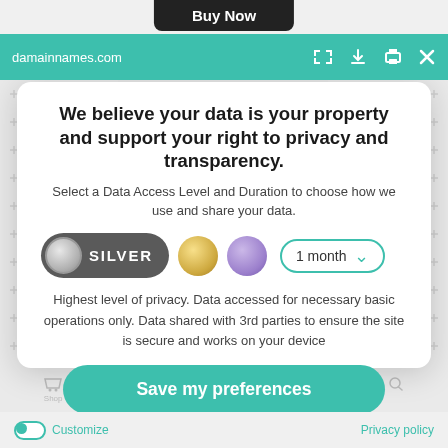Buy Now
damainnames.com
We believe your data is your property and support your right to privacy and transparency.
Select a Data Access Level and Duration to choose how we use and share your data.
[Figure (infographic): Data access level selector with three circles: SILVER (active, dark grey pill), gold circle, purple circle, and a dropdown showing '1 month']
Highest level of privacy. Data accessed for necessary basic operations only. Data shared with 3rd parties to ensure the site is secure and works on your device
Save my preferences
Customize   Privacy policy